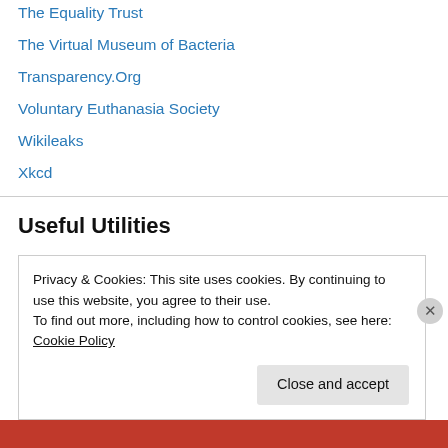The Equality Trust
The Virtual Museum of Bacteria
Transparency.Org
Voluntary Euthanasia Society
Wikileaks
Xkcd
Useful Utilities
AVG Free Anti-virus
Currency Converter
GeoNet
Privacy & Cookies: This site uses cookies. By continuing to use this website, you agree to their use.
To find out more, including how to control cookies, see here: Cookie Policy